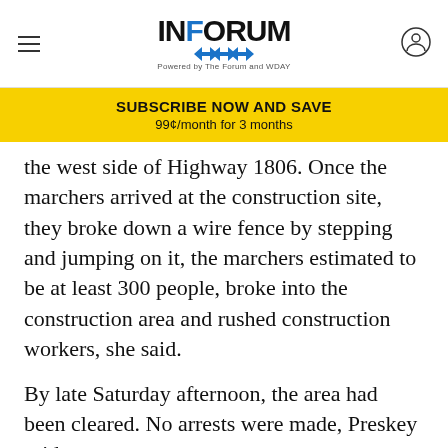INFORUM — Powered by The Forum and WDAY
SUBSCRIBE NOW AND SAVE
99¢/month for 3 months
the west side of Highway 1806. Once the marchers arrived at the construction site, they broke down a wire fence by stepping and jumping on it, the marchers estimated to be at least 300 people, broke into the construction area and rushed construction workers, she said.
By late Saturday afternoon, the area had been cleared. No arrests were made, Preskey said.
Witnesses also say they saw protesters climb onto vehicles at the construction site and beat on them, trying
[Figure (infographic): Advertisement banner: Local news you need. 3 months for 99¢/month. SUBSCRIBE TODAY button.]